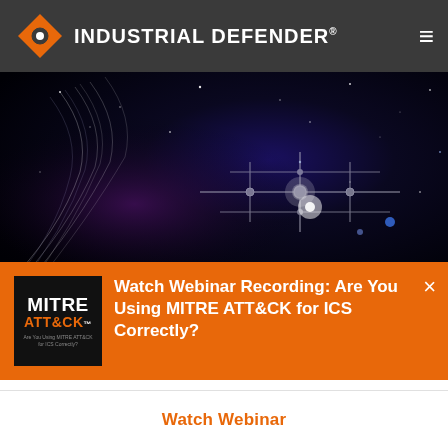INDUSTRIAL DEFENDER®
[Figure (photo): Dark space/galaxy background with illuminated circuit board pattern overlay — technology themed hero image]
[Figure (logo): MITRE ATT&CK logo badge on black background with small subtitle text 'Are You Using MITRE ATT&CK for ICS Correctly?']
Watch Webinar Recording: Are You Using MITRE ATT&CK for ICS Correctly?
Watch Webinar